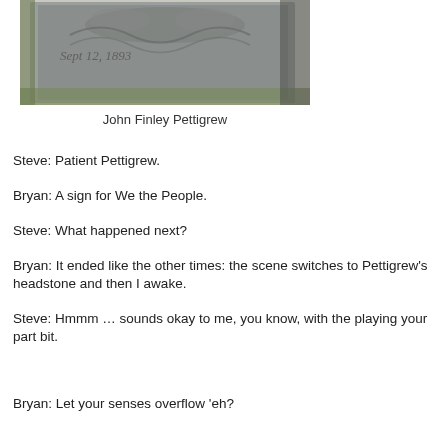[Figure (photo): Photograph of a gravestone with carved decorative text, partially readable, showing 'Sept' and '1893' or similar date, set against grass and foliage background.]
John Finley Pettigrew
Steve: Patient Pettigrew.
Bryan: A sign for We the People.
Steve: What happened next?
Bryan: It ended like the other times: the scene switches to Pettigrew's headstone and then I awake.
Steve: Hmmm … sounds okay to me, you know, with the playing your part bit.
Bryan: Let your senses overflow 'eh?